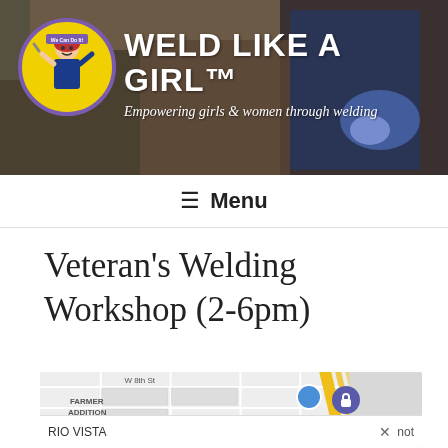[Figure (screenshot): Website header banner showing a woman welding in background, with a circular logo (Rosie the Riveter style character with 'We Can Do It!' text on yellow background with purple border) on the left, and the text 'WELD LIKE A GIRL™' in large white bold font with subtitle 'Empowering girls & women through welding' below.]
≡  Menu
Veteran's Welding Workshop (2-6pm)
[Figure (map): Google Maps screenshot showing street map with 'W 8th St' label, 'FARMER ADDITION' and 'RIO VISTA' neighborhood labels on the left. Yellow diagonal lines visible on right side. A blue location marker dot and a blue lock/navigation button appear at the bottom. A search bar at the bottom shows partial text with an X close button.]